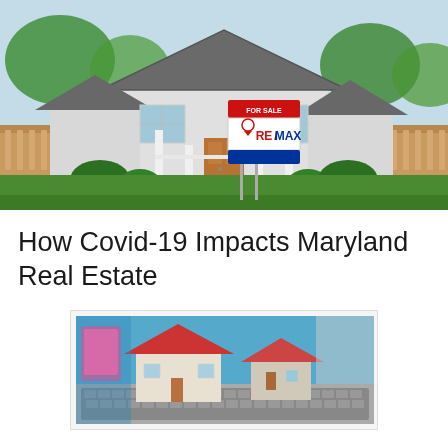[Figure (photo): A white craftsman-style house with a RE/MAX 'For Sale' sign in the front yard, lush green lawn and trees, wooden fence on the sides, and a covered front porch with columns.]
How Covid-19 Impacts Maryland Real Estate
[Figure (photo): A miniature model of red-roofed houses on top of a laptop keyboard, symbolizing online real estate during Covid-19.]